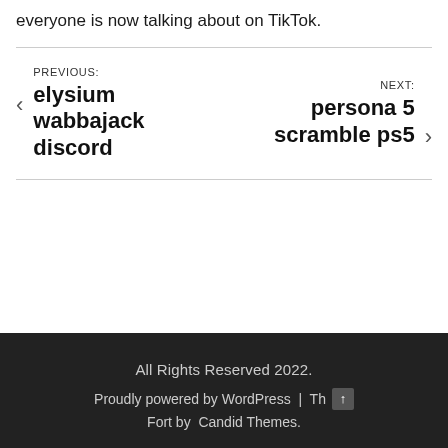everyone is now talking about on TikTok.
PREVIOUS: elysium wabbajack discord
NEXT: persona 5 scramble ps5
All Rights Reserved 2022. Proudly powered by WordPress | Th Fort by Candid Themes.